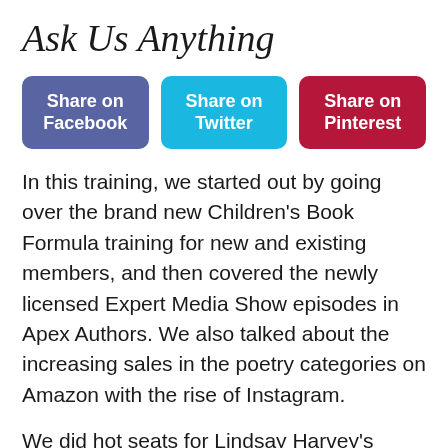Ask Us Anything
[Figure (infographic): Three social share buttons: Share on Facebook (purple), Share on Twitter (cyan), Share on Pinterest (dark red)]
In this training, we started out by going over the brand new Children's Book Formula training for new and existing members, and then covered the newly licensed Expert Media Show episodes in Apex Authors. We also talked about the increasing sales in the poetry categories on Amazon with the rise of Instagram.
We did hot seats for Lindsay Harvey's puzzle book, Ann Pashak's children's book, and